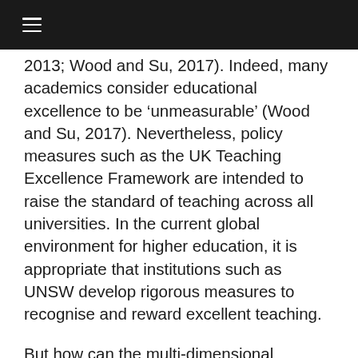2013; Wood and Su, 2017). Indeed, many academics consider educational excellence to be ‘unmeasurable’ (Wood and Su, 2017). Nevertheless, policy measures such as the UK Teaching Excellence Framework are intended to raise the standard of teaching across all universities. In the current global environment for higher education, it is appropriate that institutions such as UNSW develop rigorous measures to recognise and reward excellent teaching.
But how can the multi-dimensional concept of educational excellence be measured? Ideally, valid measures of the inputs (qualifications and professional development), process (teaching practice) and outputs (i.e. student learning) of education would all be incorporated. Evaluating student learning as a measure of teaching is